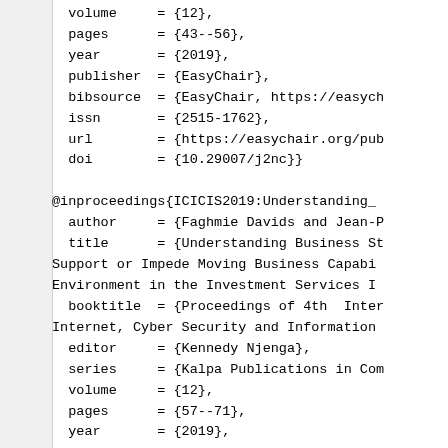volume     = {12},
  pages      = {43--56},
  year       = {2019},
  publisher  = {EasyChair},
  bibsource  = {EasyChair, https://easych
  issn       = {2515-1762},
  url        = {https://easychair.org/pub
  doi        = {10.29007/j2nc}}

@inproceedings{ICICIS2019:Understanding_
  author     = {Faghmie Davids and Jean-P
  title      = {Understanding Business St
Support or Impede Moving Business Capabi
Environment in the Investment Services I
  booktitle  = {Proceedings of 4th  Inter
Internet, Cyber Security and Information
  editor     = {Kennedy Njenga},
  series     = {Kalpa Publications in Com
  volume     = {12},
  pages      = {57--71},
  year       = {2019},